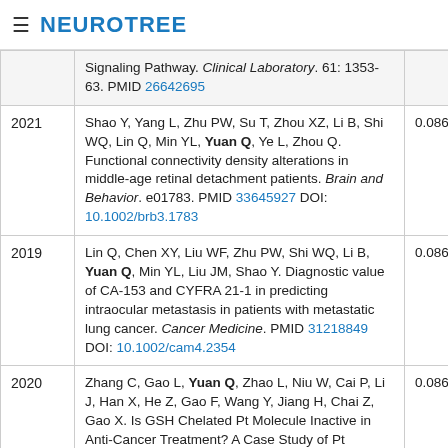≡ NEUROTREE
| Year | Reference | Score |
| --- | --- | --- |
|  | Signaling Pathway. Clinical Laboratory. 61: 1353-63. PMID 26642695 |  |
| 2021 | Shao Y, Yang L, Zhu PW, Su T, Zhou XZ, Li B, Shi WQ, Lin Q, Min YL, Yuan Q, Ye L, Zhou Q. Functional connectivity density alterations in middle-age retinal detachment patients. Brain and Behavior. e01783. PMID 33645927 DOI: 10.1002/brb3.1783 | 0.086 |
| 2019 | Lin Q, Chen XY, Liu WF, Zhu PW, Shi WQ, Li B, Yuan Q, Min YL, Liu JM, Shao Y. Diagnostic value of CA-153 and CYFRA 21-1 in predicting intraocular metastasis in patients with metastatic lung cancer. Cancer Medicine. PMID 31218849 DOI: 10.1002/cam4.2354 | 0.086 |
| 2020 | Zhang C, Gao L, Yuan Q, Zhao L, Niu W, Cai P, Li J, Han X, He Z, Gao F, Wang Y, Jiang H, Chai Z, Gao X. Is GSH Chelated Pt Molecule Inactive in Anti-Cancer Treatment? A Case Study of Pt | 0.086 |